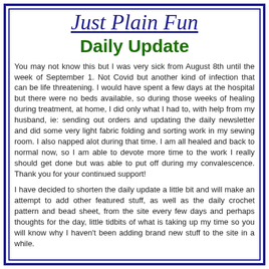Just Plain Fun
Daily Update
You may not know this but I was very sick from August 8th until the week of September 1. Not Covid but another kind of infection that can be life threatening. I would have spent a few days at the hospital but there were no beds available, so during those weeks of healing during treatment, at home, I did only what I had to, with help from my husband, ie: sending out orders and updating the daily newsletter and did some very light fabric folding and sorting work in my sewing room. I also napped alot during that time. I am all healed and back to normal now, so I am able to devote more time to the work I really should get done but was able to put off during my convalescence. Thank you for your continued support!
I have decided to shorten the daily update a little bit and will make an attempt to add other featured stuff, as well as the daily crochet pattern and bead sheet, from the site every few days and perhaps thoughts for the day, little tidbits of what is taking up my time so you will know why I haven't been adding brand new stuff to the site in a while.